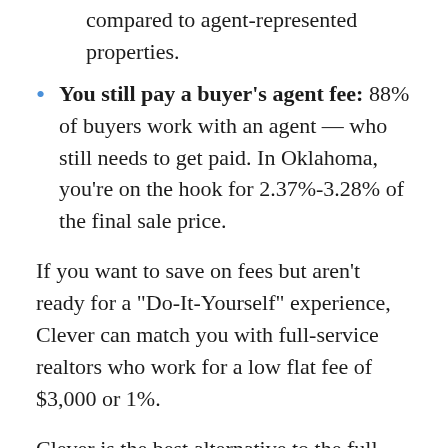compared to agent-represented properties.
You still pay a buyer's agent fee: 88% of buyers work with an agent — who still needs to get paid. In Oklahoma, you're on the hook for 2.37%-3.28% of the final sale price.
If you want to save on fees but aren't ready for a "Do-It-Yourself" experience, Clever can match you with full-service realtors who work for a low flat fee of $3,000 or 1%.
Clever is the best alternative to the full DIY approach if you're in Oklahoma! You'll save thousands on listing fees, while still getting the support you need to sell your home fast AND for top dollar.